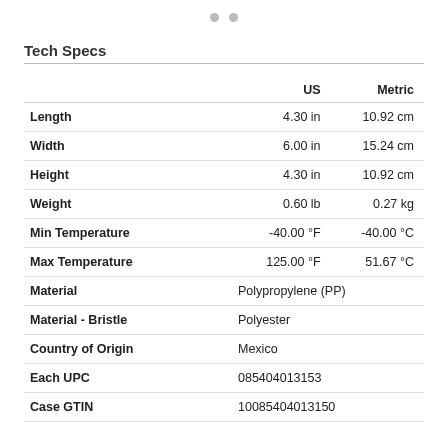Tech Specs
|  | US | Metric |
| --- | --- | --- |
| Length | 4.30 in | 10.92 cm |
| Width | 6.00 in | 15.24 cm |
| Height | 4.30 in | 10.92 cm |
| Weight | 0.60 lb | 0.27 kg |
| Min Temperature | -40.00 °F | -40.00 °C |
| Max Temperature | 125.00 °F | 51.67 °C |
| Material | Polypropylene (PP) |  |
| Material - Bristle | Polyester |  |
| Country of Origin | Mexico |  |
| Each UPC | 085404013153 |  |
| Case GTIN | 10085404013150 |  |